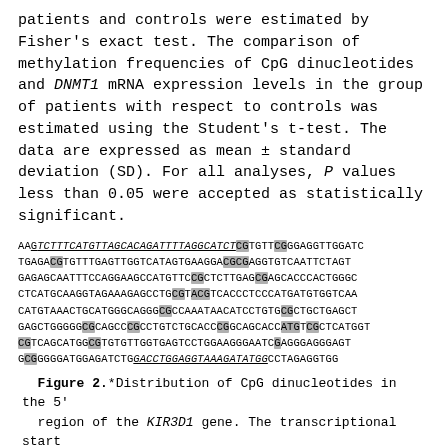patients and controls were estimated by Fisher's exact test. The comparison of methylation frequencies of CpG dinucleotides and DNMT1 mRNA expression levels in the group of patients with respect to controls was estimated using the Student's t-test. The data are expressed as mean ± standard deviation (SD). For all analyses, P values less than 0.05 were accepted as statistically significant.
[Figure (other): DNA sequence showing distribution of CpG dinucleotides in the 5' region of the KIR3D1 gene. CpG sites are highlighted in grey. Some regions are underlined indicating the transcriptional start site region.]
Figure 2.*Distribution of CpG dinucleotides in the 5' region of the KIR3D1 gene. The transcriptional start site is indicated by a square and the CpG